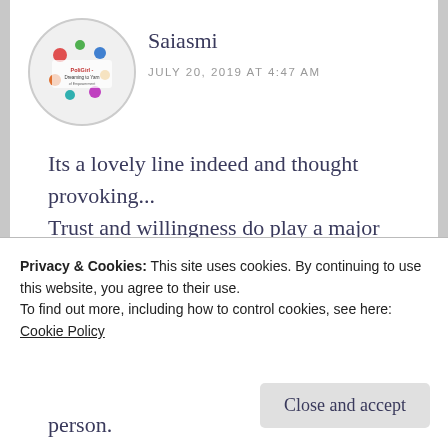[Figure (illustration): Circular avatar image for user Saiasmi showing a colorful blog logo with text 'PoliGirl - Dreaming to Yarn']
Saiasmi
JULY 20, 2019 AT 4:47 AM
Its a lovely line indeed and thought provoking...
Trust and willingness do play a major role..
But the timing is a key... You may realise the emotions the other person has, but not be ready to accept. It doesnt mean you dont trust them, or can't open up to them..
Privacy & Cookies: This site uses cookies. By continuing to use this website, you agree to their use.
To find out more, including how to control cookies, see here: Cookie Policy
Close and accept
person.